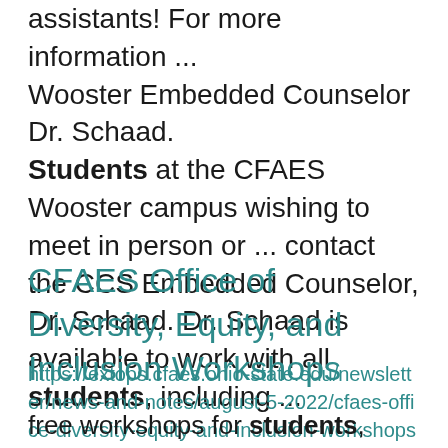assistants! For more information ... Wooster Embedded Counselor Dr. Schaad. Students at the CFAES Wooster campus wishing to meet in person or ... contact the CCS Embedded Counselor, Dr. Schaad. Dr. Schaad is available to work with all students, including ...
CFAES Office of Diversity, Equity, and Inclusion Workshops
https://extops.cfaes.ohio-state.edu/newsletter/news-and-notes/august-5-2022/cfaes-office-diversity-equity-and-inclusion-workshops
free workshops for students, staff, and faculty. The schedule of programs for